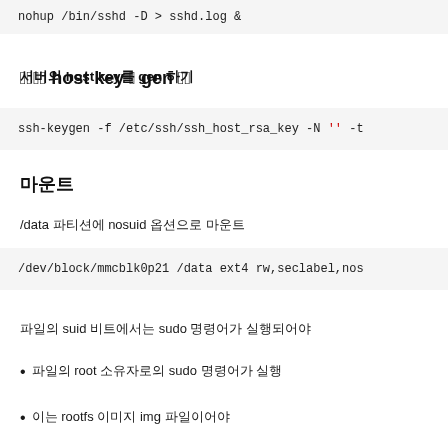nohup /bin/sshd -D > sshd.log &
서버의 host key를 gen 하기
ssh-keygen -f /etc/ssh/ssh_host_rsa_key -N '' -t
마운트
/data 파티션에 nosuid 옵션으로 마운트
/dev/block/mmcblk0p21 /data ext4 rw,seclabel,nos
파일의 suid 비트에서는 sudo 명령어가 실행되어야
파일의 root 소유자로의 sudo 명령어가 실행
이는 rootfs 이미지 img 파일이어야